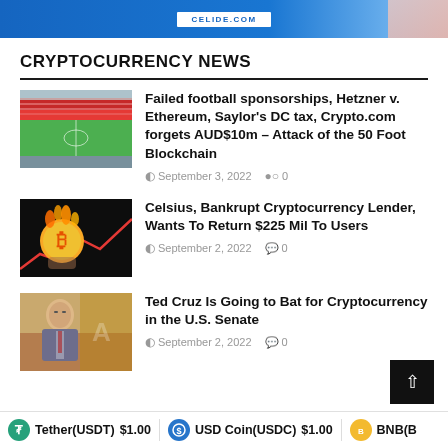[Figure (screenshot): Blue banner advertisement at top of page]
CRYPTOCURRENCY NEWS
[Figure (photo): Stadium photo thumbnail for football sponsorships article]
Failed football sponsorships, Hetzner v. Ethereum, Saylor's DC tax, Crypto.com forgets AUD$10m – Attack of the 50 Foot Blockchain
September 3, 2022   0
[Figure (photo): Bitcoin coin on fire thumbnail for Celsius article]
Celsius, Bankrupt Cryptocurrency Lender, Wants To Return $225 Mil To Users
September 2, 2022   0
[Figure (photo): Ted Cruz portrait thumbnail]
Ted Cruz Is Going to Bat for Cryptocurrency in the U.S. Senate
September 2, 2022   0
Tether(USDT) $1.00   USD Coin(USDC) $1.00   BNB(B...